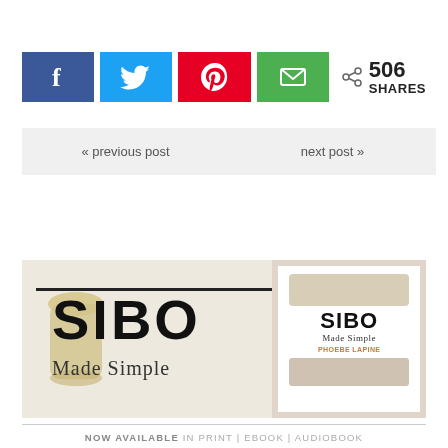[Figure (infographic): Social share bar with Facebook, Twitter, Pinterest, and Email buttons, showing 506 SHARES]
506 SHARES
« previous post
next post »
[Figure (illustration): SIBO Made Simple book banner with smoothie drink background and book cover on right side]
NOW AVAILABLE IN PRINT | EBOOK | AUDIOBOOK